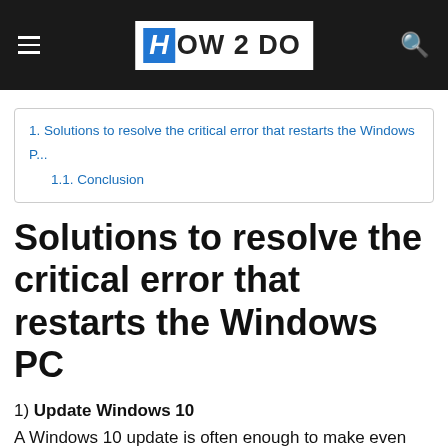HOW 2 DO
1. Solutions to resolve the critical error that restarts the Windows P...
1.1. Conclusion
Solutions to resolve the critical error that restarts the Windows PC
1) Update Windows 10
A Windows 10 update is often enough to make even serious errors disappear. By correcting system bugs and compatibility with other software, you could also resolve the critical error that restarts the Windows PC. To do so, you